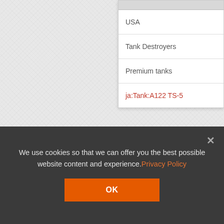[Figure (screenshot): Website background with light gray textured linen-like pattern. A white dropdown/panel on the right side shows navigation items: USA, Tank Destroyers, Premium tanks, and a red link 'ja:Tank:A122 TS-5'.]
USA
Tank Destroyers
Premium tanks
ja:Tank:A122 TS-5
We use cookies so that we can offer you the best possible website content and experience. Privacy Policy
OK